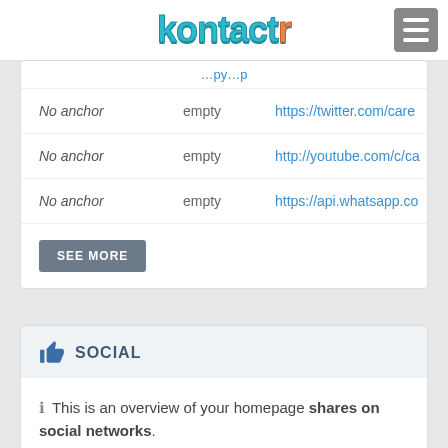kontactr
| Anchor | Status | URL |
| --- | --- | --- |
| No anchor | empty | https://twitter.com/care |
| No anchor | empty | http://youtube.com/c/ca |
| No anchor | empty | https://api.whatsapp.co |
SOCIAL
ℹ This is an overview of your homepage shares on social networks.